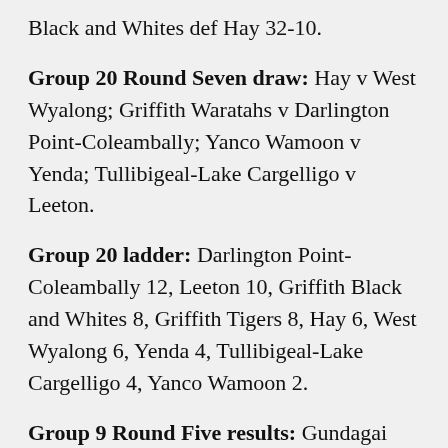Black and Whites def Hay 32-10.
Group 20 Round Seven draw: Hay v West Wyalong; Griffith Waratahs v Darlington Point-Coleambally; Yanco Wamoon v Yenda; Tullibigeal-Lake Cargelligo v Leeton.
Group 20 ladder: Darlington Point-Coleambally 12, Leeton 10, Griffith Black and Whites 8, Griffith Tigers 8, Hay 6, West Wyalong 6, Yenda 4, Tullibigeal-Lake Cargelligo 4, Yanco Wamoon 2.
Group 9 Round Five results: Gundagai def Young 36-14; Tumut def Southcity 42-16; Temora def Junee 34-12.